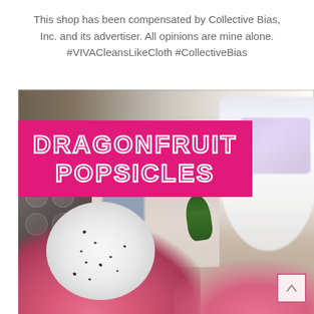This shop has been compensated by Collective Bias, Inc. and its advertiser. All opinions are mine alone. #VIVACleansLikeCloth #CollectiveBias
[Figure (photo): Photo of dragonfruit cut in half in the foreground with a blender and white product bottles in the blurred background. A hot pink banner overlay reads 'DRAGONFRUIT POPSICLES' in white outlined uppercase letters. A small scroll-to-top button with an upward arrow is visible in the bottom right corner.]